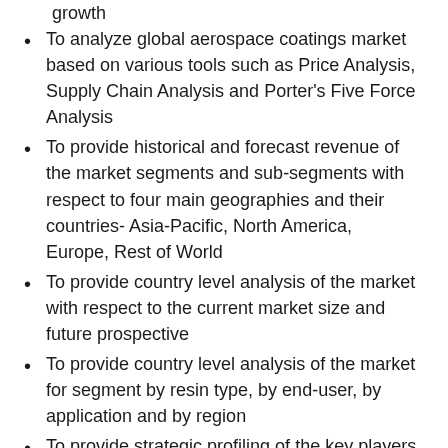growth
To analyze global aerospace coatings market based on various tools such as Price Analysis, Supply Chain Analysis and Porter's Five Force Analysis
To provide historical and forecast revenue of the market segments and sub-segments with respect to four main geographies and their countries- Asia-Pacific, North America, Europe, Rest of World
To provide country level analysis of the market with respect to the current market size and future prospective
To provide country level analysis of the market for segment by resin type, by end-user, by application and by region
To provide strategic profiling of the key players in the market, comprehensively analyzing their core competencies, and drawing a competitive landscape for the market
To track and analyze competitive developments such as joint ventures, strategic alliances, mergers and acquisitions, new product developments, and research and